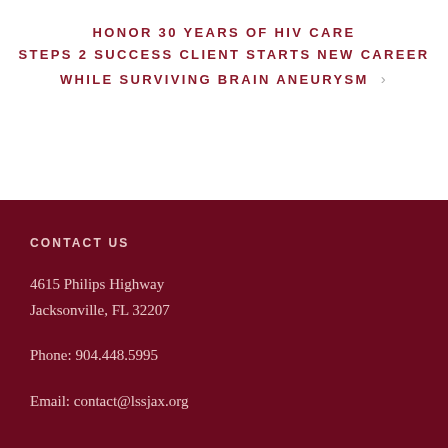HONOR 30 YEARS OF HIV CARE STEPS 2 SUCCESS CLIENT STARTS NEW CAREER WHILE SURVIVING BRAIN ANEURYSM ›
CONTACT US
4615 Philips Highway
Jacksonville, FL 32207
Phone: 904.448.5995
Email: contact@lssjax.org